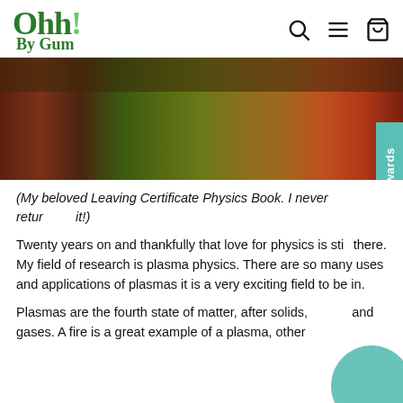[Figure (logo): Ohh! By Gum brand logo in dark green serif font with exclamation mark in lighter green]
[Figure (photo): Close-up photo of colorful yarn or fiber crafts with a tortoise shell visible at top, in warm amber/green tones]
(My beloved Leaving Certificate Physics Book. I never returned it!)
Twenty years on and thankfully that love for physics is still there. My field of research is plasma physics. There are so many uses and applications of plasmas it is a very exciting field to be in.
Plasmas are the fourth state of matter, after solids, liquids and gases. A fire is a great example of a plasma, other